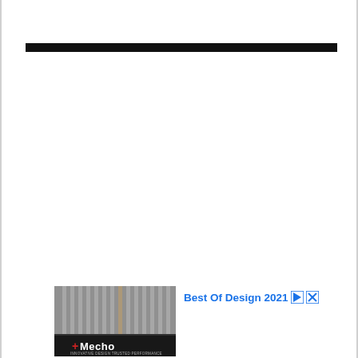[Figure (other): Thick black horizontal rule/bar near top of page]
[Figure (photo): Advertisement image showing architectural building with vertical louvers/blinds — Mecho brand. Text reads 'Best Of Design 2021' in blue with play and close icons. 'Ad' label below.]